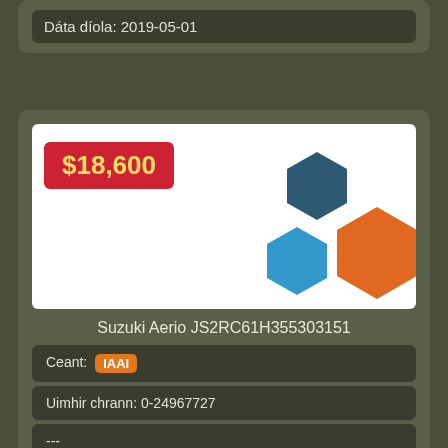Dáta díola: 2019-05-01
[Figure (logo): Vehicle listing card showing price tag $18,600 in red, three hexagon shapes in dark teal, light blue, and orange on white background]
Suzuki Aerio JS2RC61H355303151
Ceant: IAAI
Uimhir chrann: 0-24967727
---
Stádas: Díolta amach
Rith: 258 222 mi
Dáta díola: 2019-05-01